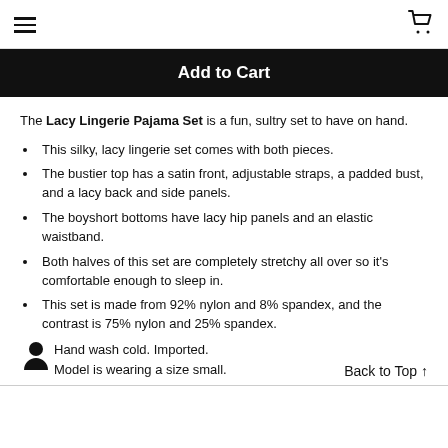[hamburger menu icon] [shopping cart icon]
Add to Cart
The Lacy Lingerie Pajama Set is a fun, sultry set to have on hand.
This silky, lacy lingerie set comes with both pieces.
The bustier top has a satin front, adjustable straps, a padded bust, and a lacy back and side panels.
The boyshort bottoms have lacy hip panels and an elastic waistband.
Both halves of this set are completely stretchy all over so it's comfortable enough to sleep in.
This set is made from 92% nylon and 8% spandex, and the contrast is 75% nylon and 25% spandex.
Hand wash cold. Imported.
Model is wearing a size small.